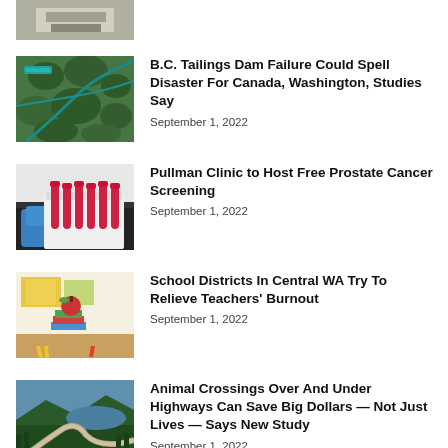[Figure (photo): Partial image at top — appears to show a building or structure]
(partial headline text cut off at top)
[Figure (photo): Aerial map/satellite view showing green forested area with roads]
B.C. Tailings Dam Failure Could Spell Disaster For Canada, Washington, Studies Say
September 1, 2022
[Figure (photo): Medical lab setting with blue-gloved hands holding blood test tubes in a rack]
Pullman Clinic to Host Free Prostate Cancer Screening
September 1, 2022
[Figure (photo): Classroom desk with an apple on top of stacked books and pencils]
School Districts In Central WA Try To Relieve Teachers' Burnout
September 1, 2022
[Figure (photo): Aerial view of a highway winding through forested mountain landscape with a lake]
Animal Crossings Over And Under Highways Can Save Big Dollars — Not Just Lives — Says New Study
September 1, 2022